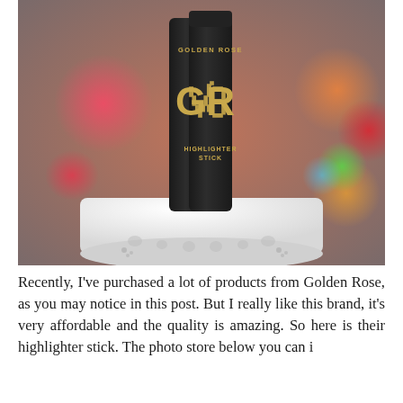[Figure (photo): A photograph of Golden Rose Highlighter Stick product in black cylindrical packaging with gold GR logo, placed on top of a white ceramic candle holder/lamp. The background has colorful bokeh lights (pink, red, green, orange) creating a festive atmosphere.]
Recently, I've purchased a lot of products from Golden Rose, as you may notice in this post. But I really like this brand, it's very affordable and the quality is amazing. So here is their highlighter stick. The photo store below you can i